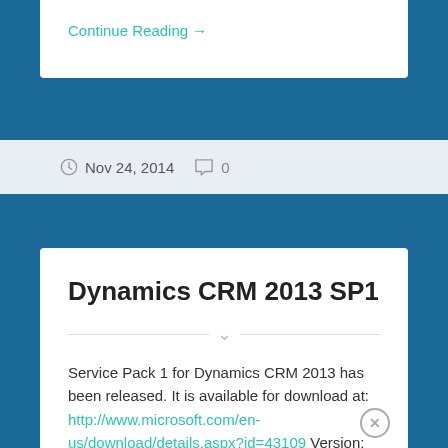Continue Reading →
Nov 24, 2014   0
Dynamics CRM 2013 SP1
Service Pack 1 for Dynamics CRM 2013 has been released. It is available for download at: http://www.microsoft.com/en-us/download/details.aspx?id=43109 Version: 06.01.0000.0581 Release Date: 5/28/2014 Details and a listing of all issues resolved are available at: